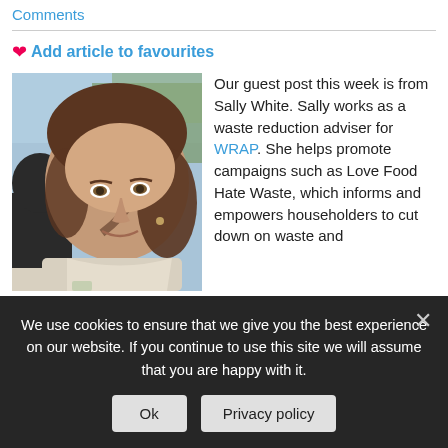Comments
Add article to favourites
[Figure (photo): Portrait photo of Sally White, a young woman with brown hair, outdoors near water]
Our guest post this week is from Sally White. Sally works as a waste reduction adviser for WRAP. She helps promote campaigns such as Love Food Hate Waste, which informs and empowers householders to cut down on waste and
We use cookies to ensure that we give you the best experience on our website. If you continue to use this site we will assume that you are happy with it.